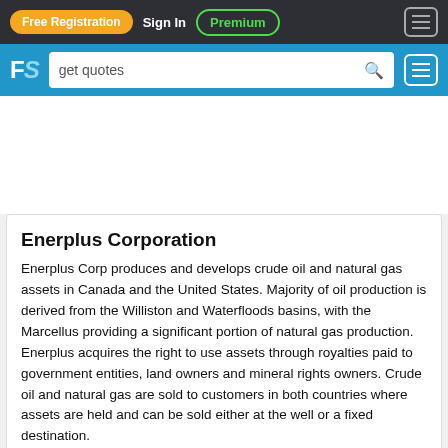Free Registration  Sign In  Premium
[Figure (screenshot): Website navigation bar with Free Registration (orange button), Sign In text, Premium (green outlined button), and hamburger menu icon on dark background]
[Figure (screenshot): Blue search bar with FS logo on left, search input showing 'get quotes', and hamburger menu icon on right]
[Advertisement area]
Enerplus Corporation
Enerplus Corp produces and develops crude oil and natural gas assets in Canada and the United States. Majority of oil production is derived from the Williston and Waterfloods basins, with the Marcellus providing a significant portion of natural gas production. Enerplus acquires the right to use assets through royalties paid to government entities, land owners and mineral rights owners. Crude oil and natural gas are sold to customers in both countries where assets are held and can be sold either at the well or a fixed destination.